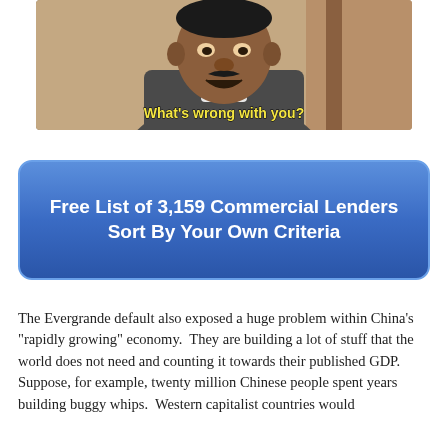[Figure (photo): Meme image of a man with subtitle text 'What's wrong with you?']
Free List of 3,159 Commercial Lenders Sort By Your Own Criteria
The Evergrande default also exposed a huge problem within China's "rapidly growing" economy.  They are building a lot of stuff that the world does not need and counting it towards their published GDP.  Suppose, for example, twenty million Chinese people spent years building buggy whips.  Western capitalist countries would